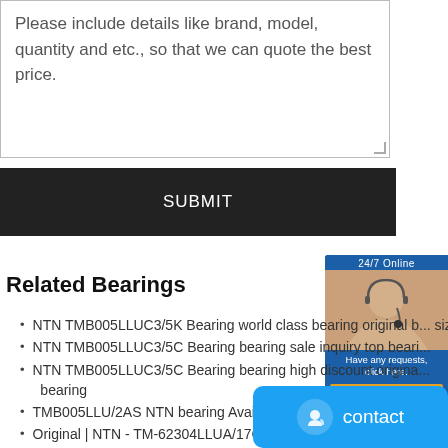Please include details like brand, model, quantity and etc., so that we can quote the best price.
SUBMIT
Related Bearings
NTN TMB005LLUC3/5K Bearing world class bearing original b... size
NTN TMB005LLUC3/5C Bearing bearing sale inquiry top beari...
NTN TMB005LLUC3/5C Bearing bearing high discount origina... bearing
TMB005LLU/2AS NTN bearing Availability - NTN TMB005LLU/2AS
Original | NTN - TM-62304LLUA/17C3/L417Q1 Bearing's Puller
NTN TMB006U87 Bearing national precision bearing bearing price size
NTN TMB2/22/52V3 Bearing bearing sale quality bearing delivery
NTN TMB006ZZ/L448 Bearing big bearing store b...
NTN TMB305JR2C3 Bearing shop bearing global b...
NTN - TMB005JR2 BEARING - TMB005JR2(NTN) Aruba | CRB